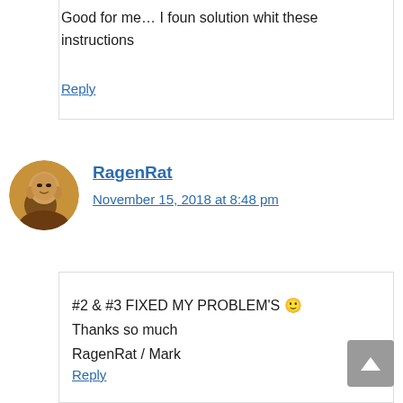Good for me… I foun solution whit these instructions
Reply
RagenRat
November 15, 2018 at 8:48 pm
#2 & #3 FIXED MY PROBLEM'S 🙂
Thanks so much
RagenRat / Mark
Reply